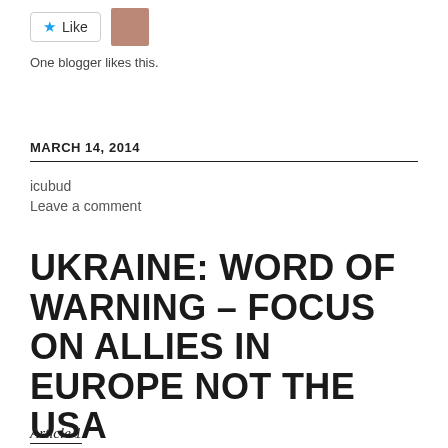[Figure (other): Like button with star icon and a blogger avatar thumbnail]
One blogger likes this.
MARCH 14, 2014
icubud
Leave a comment
UKRAINE: WORD OF WARNING – FOCUS ON ALLIES IN EUROPE NOT THE USA
Article 1